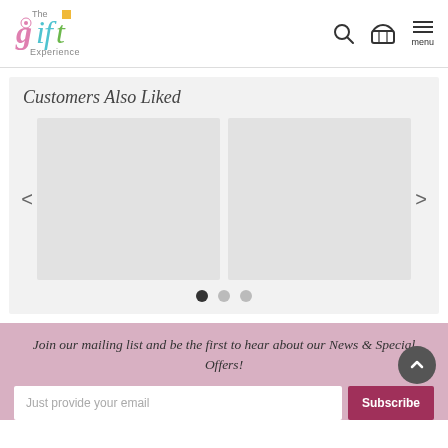[Figure (logo): The Gift Experience logo with pink, teal and yellow text]
Customers Also Liked
[Figure (screenshot): Product carousel with two empty grey placeholder product image boxes, left and right navigation arrows, and three pagination dots (first dot active/filled)]
Join our mailing list and be the first to hear about our News & Special Offers!
Just provide your email
Subscribe